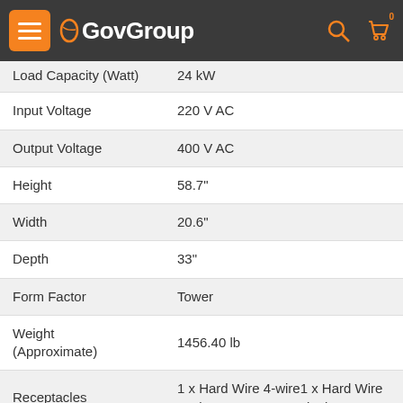GovGroup
| Specification | Value |
| --- | --- |
| Load Capacity (Watt) | 24 kW |
| Input Voltage | 220 V AC |
| Output Voltage | 400 V AC |
| Height | 58.7" |
| Width | 20.6" |
| Depth | 33" |
| Form Factor | Tower |
| Weight (Approximate) | 1456.40 lb |
| Receptacles | 1 x Hard Wire 4-wire1 x Hard Wire 5-wire1 x Screw Terminal |
| Plug/Connector Type | Hard Wire 5-wire |
| Network Management | SNMP Manageable |